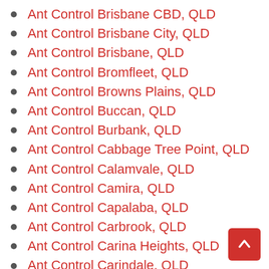Ant Control Brisbane CBD, QLD
Ant Control Brisbane City, QLD
Ant Control Brisbane, QLD
Ant Control Bromfleet, QLD
Ant Control Browns Plains, QLD
Ant Control Buccan, QLD
Ant Control Burbank, QLD
Ant Control Cabbage Tree Point, QLD
Ant Control Calamvale, QLD
Ant Control Camira, QLD
Ant Control Capalaba, QLD
Ant Control Carbrook, QLD
Ant Control Carina Heights, QLD
Ant Control Carindale, QLD